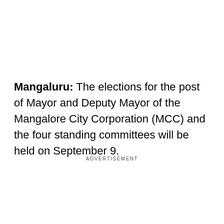Mangaluru: The elections for the post of Mayor and Deputy Mayor of the Mangalore City Corporation (MCC) and the four standing committees will be held on September 9.
ADVERTISEMENT